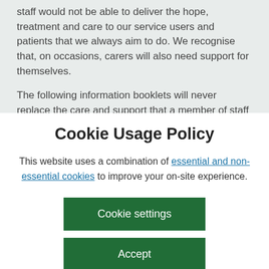staff would not be able to deliver the hope, treatment and care to our service users and patients that we always aim to do.  We recognise that, on occasions, carers will also need support for themselves.

The following information booklets will never replace the care and support that a member of staff can provide you
Cookie Usage Policy
This website uses a combination of essential and non-essential cookies to improve your on-site experience.
Cookie settings
Accept